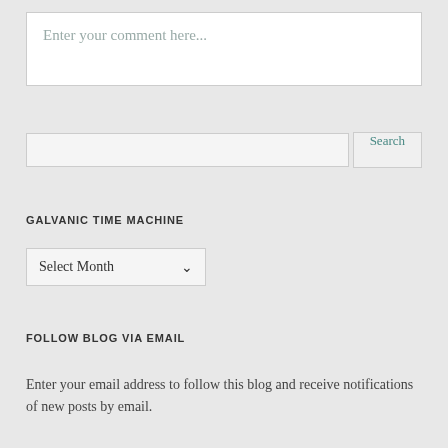Enter your comment here...
Search
GALVANIC TIME MACHINE
Select Month
FOLLOW BLOG VIA EMAIL
Enter your email address to follow this blog and receive notifications of new posts by email.